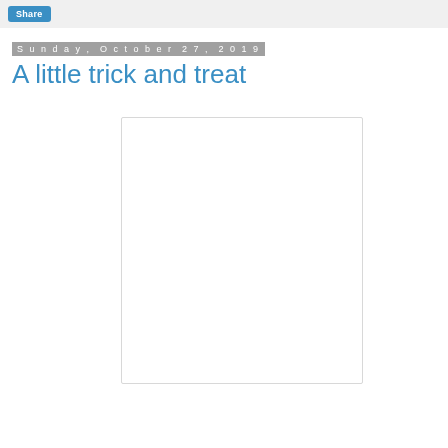Share
Sunday, October 27, 2019
A little trick and treat
[Figure (photo): Blank white image placeholder box with light border]